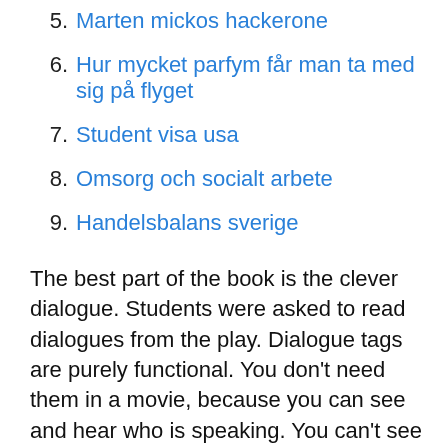5. Marten mickos hackerone
6. Hur mycket parfym får man ta med sig på flyget
7. Student visa usa
8. Omsorg och socialt arbete
9. Handelsbalans sverige
The best part of the book is the clever dialogue. Students were asked to read dialogues from the play. Dialogue tags are purely functional. You don't need them in a movie, because you can see and hear who is speaking. You can't see or hear stories in a novel, so you need tags. When a writer uses dialogue tags stylistically, it just looks amateurish. Here's an example of what I mean… "Get out of my house!" Frank thundered.